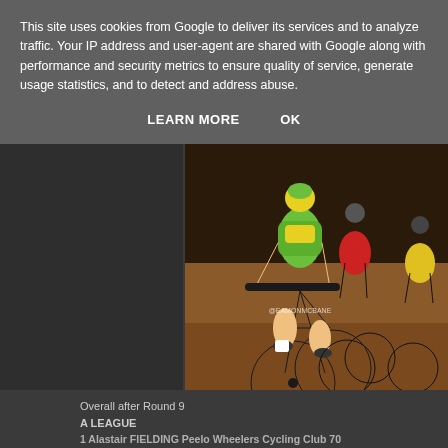This site uses cookies from Google to deliver its services and to analyze traffic. Your IP address and user-agent are shared with Google along with performance and security metrics to ensure quality of service, generate usage statistics, and to detect and address abuse.
LEARN MORE    OK
[Figure (photo): Track cyclists racing on an indoor velodrome. The lead rider wears a green and yellow Australian kit. Other riders in red and yellow kits are visible behind. Watermark @EAMONMCBANE visible on the photo.]
Overall after Round 9
A LEAGUE
1 Alastair FIELDING Peelo Wheelers Cycling Club 70